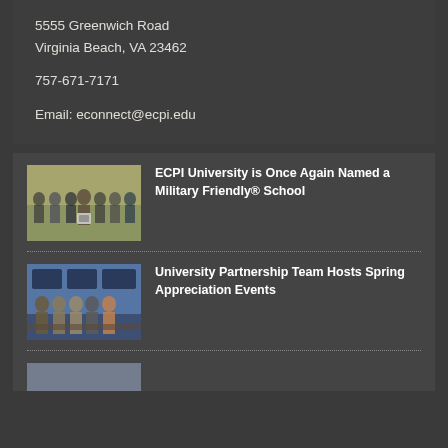5555 Greenwich Road
Virginia Beach, VA 23462
757-671-7171
Email: econnect@ecpi.edu
[Figure (photo): Group of people posing outdoors, one holding a framed award]
ECPI University is Once Again Named a Military Friendly® School
[Figure (photo): Group of people posing indoors in front of a blue background with screens]
University Partnership Team Hosts Spring Appreciation Events
[Figure (photo): Partially visible photo at bottom of page]